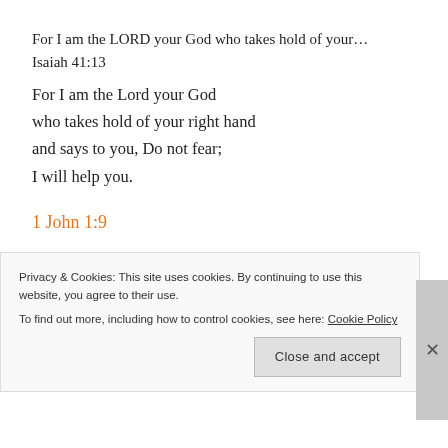For I am the LORD your God who takes hold of your…
Isaiah 41:13
For I am the Lord your God
who takes hold of your right hand
and says to you, Do not fear;
I will help you.
1 John 1:9
If we confess our sins, he is faithful and just and will forgive us our sins and purify us from all
Privacy & Cookies: This site uses cookies. By continuing to use this website, you agree to their use.
To find out more, including how to control cookies, see here: Cookie Policy
Close and accept